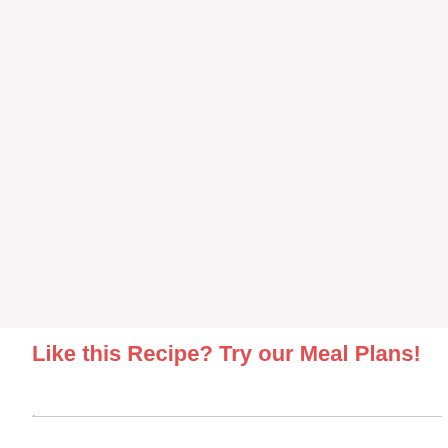[Figure (other): Large empty light gray rectangle area at the top of the page]
Like this Recipe? Try our Meal Plans!
·